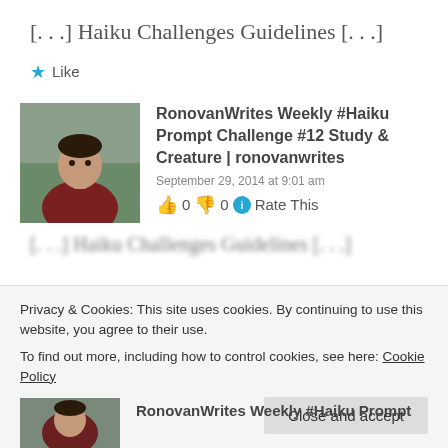[…] Haiku Challenges Guidelines […]
Like
RonovanWrites Weekly #Haiku Prompt Challenge #12 Study & Creature | ronovanwrites
September 29, 2014 at 9:01 am
0  0  Rate This
[…] Haiku Challenges Guidelines […]
Privacy & Cookies: This site uses cookies. By continuing to use this website, you agree to their use.
To find out more, including how to control cookies, see here: Cookie Policy
Close and accept
RonovanWrites Weekly #Haiku Prompt